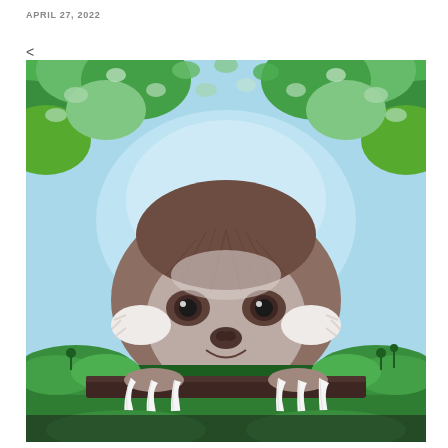APRIL 27, 2022
<
[Figure (illustration): Digital illustration of a smiling three-toed sloth peeking over a ledge covered in green plants and ferns, with a blue sky and green leafy canopy visible in the background. The sloth's long white claws are visible gripping the ledge. The image has a cheerful, cartoon-like quality.]